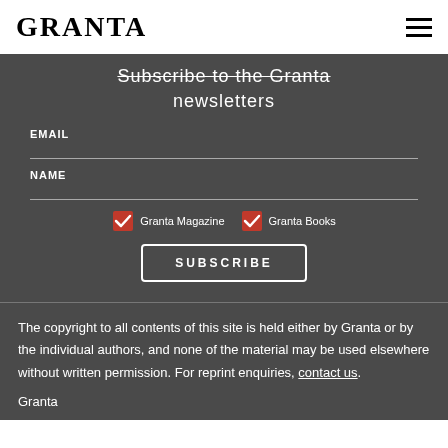GRANTA
Subscribe to the Granta newsletters
EMAIL
NAME
Granta Magazine   Granta Books
SUBSCRIBE
The copyright to all contents of this site is held either by Granta or by the individual authors, and none of the material may be used elsewhere without written permission. For reprint enquiries, contact us.
Granta